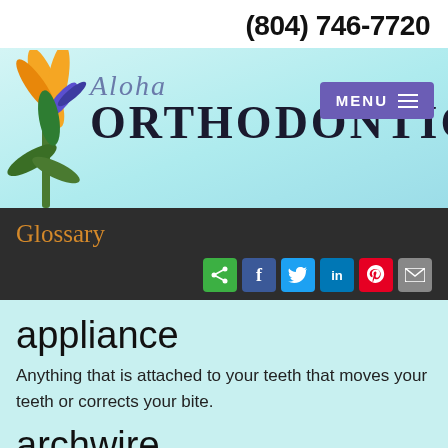(804) 746-7720
[Figure (logo): Aloha Orthodontics logo with bird-of-paradise flower and script/serif text, with purple MENU button]
Glossary
[Figure (infographic): Social sharing icons row: share, Facebook, Twitter, LinkedIn, Pinterest, Email]
appliance
Anything that is attached to your teeth that moves your teeth or corrects your bite.
archwire